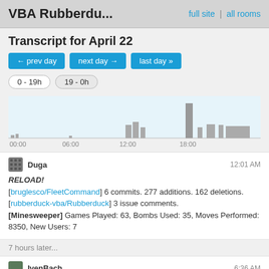VBA Rubberdu... | full site | all rooms
Transcript for April 22
← prev day | next day → | last day »
0 - 19h | 19 - 0h
[Figure (bar-chart): Activity chart 00:00 to 18:00]
Duga 12:01 AM
RELOAD!
[bruglesco/FleetCommand] 6 commits. 277 additions. 162 deletions.
[rubberduck-vba/Rubberduck] 3 issue comments.
[Minesweeper] Games Played: 63, Bombs Used: 35, Moves Performed: 8350, New Users: 7
7 hours later...
IvenBach 6:36 AM
Hope everyone had a good safe sane Easter weekend
2 hours later...
Duga 8:12 AM
[rubberduck-vba/Rubberduck] nstiefel created comment on issue #4928: Code...